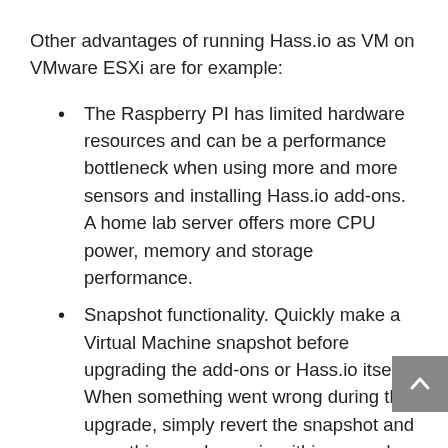Other advantages of running Hass.io as VM on VMware ESXi are for example:
The Raspberry PI has limited hardware resources and can be a performance bottleneck when using more and more sensors and installing Hass.io add-ons. A home lab server offers more CPU power, memory and storage performance.
Snapshot functionality. Quickly make a Virtual Machine snapshot before upgrading the add-ons or Hass.io itself. When something went wrong during the upgrade, simply revert the snapshot and everything works again within seconds.
The installation of Hass.io in a Ubuntu VM on ESXi is simple.